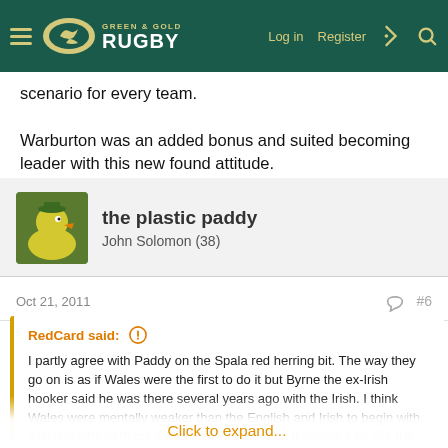Green & Gold Rugby — Log in  Register
scenario for every team.

Warburton was an added bonus and suited becoming leader with this new found attitude.
the plastic paddy
John Solomon (38)
Oct 21, 2011  #6
RedCard said: ↑
I partly agree with Paddy on the Spala red herring bit. The way they go on is as if Wales were the first to do it but Byrne the ex-Irish hooker said he was there several years ago with the Irish. I think Wales were mentally weaker than the English and Irish to begin with which is why perhaps it had a sizeable effect. It seems a bit like the old fashioned army recruit scenario where they break them down mentally before rebuilding them. Wales needed it more than the others. Spala won't be a "turn off" scenario for every team.
Click to expand...